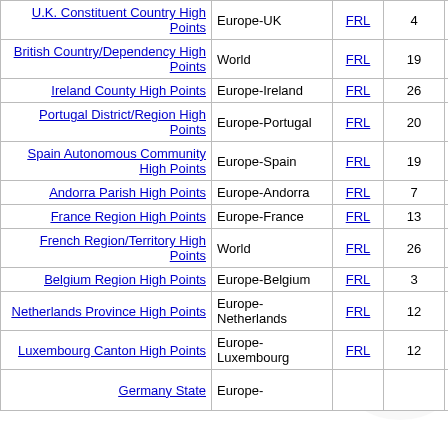| High Points | Domain |  | Count |  |  |  |
| --- | --- | --- | --- | --- | --- | --- |
| U.K. Constituent Country High Points | Europe-UK | FRL | 4 |  |  |  |
| British Country/Dependency High Points | World | FRL | 19 |  |  |  |
| Ireland County High Points | Europe-Ireland | FRL | 26 |  |  |  |
| Portugal District/Region High Points | Europe-Portugal | FRL | 20 |  |  |  |
| Spain Autonomous Community High Points | Europe-Spain | FRL | 19 |  |  |  |
| Andorra Parish High Points | Europe-Andorra | FRL | 7 |  |  |  |
| France Region High Points | Europe-France | FRL | 13 |  |  |  |
| French Region/Territory High Points | World | FRL | 26 |  |  |  |
| Belgium Region High Points | Europe-Belgium | FRL | 3 |  |  |  |
| Netherlands Province High Points | Europe-Netherlands | FRL | 12 |  |  |  |
| Luxembourg Canton High Points | Europe-Luxembourg | FRL | 12 |  |  |  |
| Germany State ... | Europe-... | FRL |  |  |  |  |